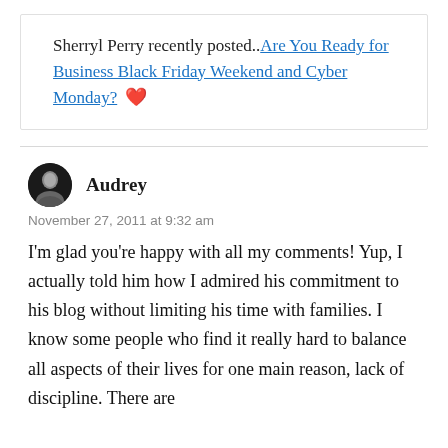Sherryl Perry recently posted..Are You Ready for Business Black Friday Weekend and Cyber Monday? [bird emoji]
Audrey
November 27, 2011 at 9:32 am
I'm glad you're happy with all my comments! Yup, I actually told him how I admired his commitment to his blog without limiting his time with families. I know some people who find it really hard to balance all aspects of their lives for one main reason, lack of discipline. There are